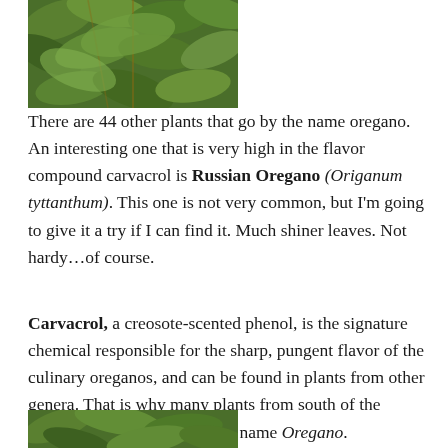[Figure (photo): Close-up photograph of green oregano plant leaves, partially visible at the top of the page]
There are 44 other plants that go by the name oregano.  An interesting one that is very high in the flavor compound carvacrol is Russian Oregano (Origanum tyttanthum). This one is not very common, but I'm going to give it a try if I can find it. Much shiner leaves. Not hardy…of course.
Carvacrol, a creosote-scented phenol, is the signature chemical responsible for the sharp, pungent flavor of the culinary oreganos, and can be found in plants from other genera. That is why many plants from south of the border also have the common name Oregano.
[Figure (photo): Partial photograph of green plant leaves visible at the very bottom of the page]